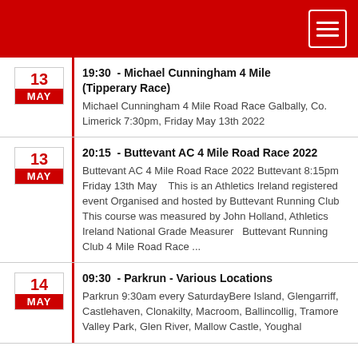13 MAY | 19:30 - Michael Cunningham 4 Mile (Tipperary Race) | Michael Cunningham 4 Mile Road Race Galbally, Co. Limerick 7:30pm, Friday May 13th 2022
13 MAY | 20:15 - Buttevant AC 4 Mile Road Race 2022 | Buttevant AC 4 Mile Road Race 2022 Buttevant 8:15pm Friday 13th May  This is an Athletics Ireland registered event Organised and hosted by Buttevant Running Club  This course was measured by John Holland, Athletics Ireland National Grade Measurer  Buttevant Running Club 4 Mile Road Race ...
14 MAY | 09:30 - Parkrun - Various Locations | Parkrun 9:30am every SaturdayBere Island, Glengarriff, Castlehaven, Clonakilty, Macroom, Ballincollig, Tramore Valley Park, Glen River, Mallow Castle, Youghal